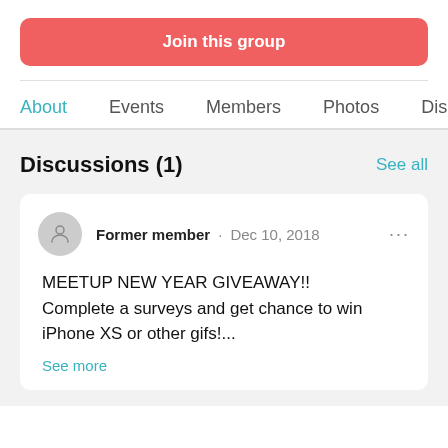Join this group
About · Events · Members · Photos · Disc
Discussions (1)
See all
Former member · Dec 10, 2018
MEETUP NEW YEAR GIVEAWAY!!
Complete a surveys and get chance to win iPhone XS or other gifs!...
See more